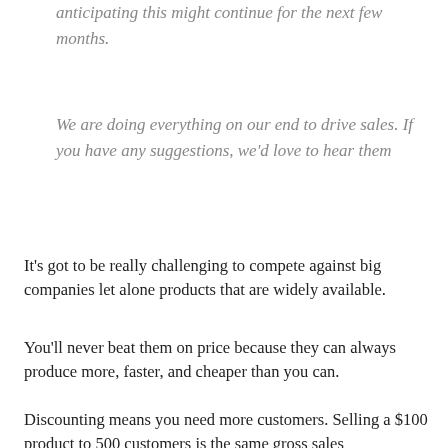anticipating this might continue for the next few months.
We are doing everything on our end to drive sales. If you have any suggestions, we'd love to hear them
It's got to be really challenging to compete against big companies let alone products that are widely available.
You'll never beat them on price because they can always produce more, faster, and cheaper than you can.
Discounting means you need more customers. Selling a $100 product to 500 customers is the same gross sales